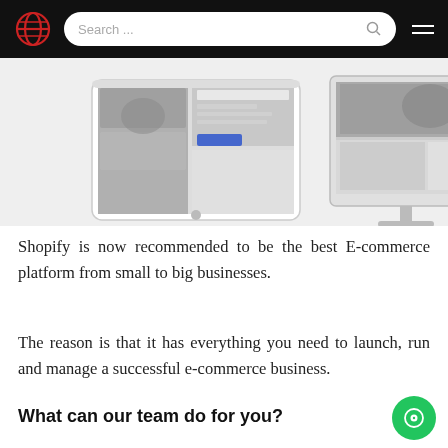Search ...
[Figure (screenshot): Screenshot showing Shopify website displayed on a tablet and a desktop/iMac monitor side by side]
Shopify is now recommended to be the best E-commerce platform from small to big businesses.
The reason is that it has everything you need to launch, run and manage a successful e-commerce business.
What can our team do for you?